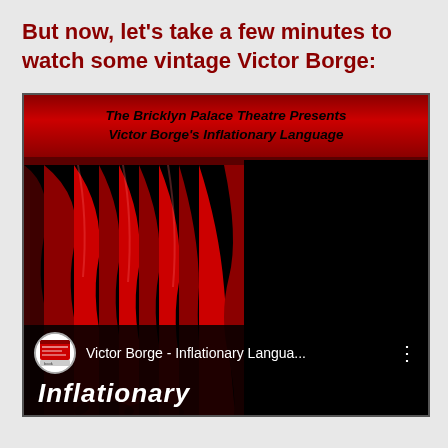But now, let's take a few minutes to watch some vintage Victor Borge:
[Figure (screenshot): A YouTube video thumbnail showing Victor Borge's Inflationary Language. The thumbnail features a red theater curtain on a black background. A red banner at the top reads 'The Bricklyn Palace Theatre Presents Victor Borge's Inflationary Language'. At the bottom there is a channel icon, the title 'Victor Borge - Inflationary Langua...' with a three-dot menu, and the word 'Inflationary' in bold italic white text.]